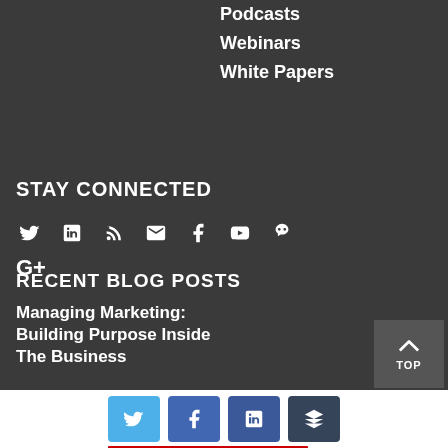Podcasts
Webinars
White Papers
STAY CONNECTED
[Figure (infographic): Social media icons row: Twitter, LinkedIn, RSS, Email, Facebook, YouTube, a custom icon, Google+]
RECENT BLOG POSTS
Managing Marketing: Building Purpose Inside The Business
[Figure (infographic): Share buttons row: Twitter (blue), Facebook (blue), LinkedIn (dark blue), Buffer (dark). Red bar below.]